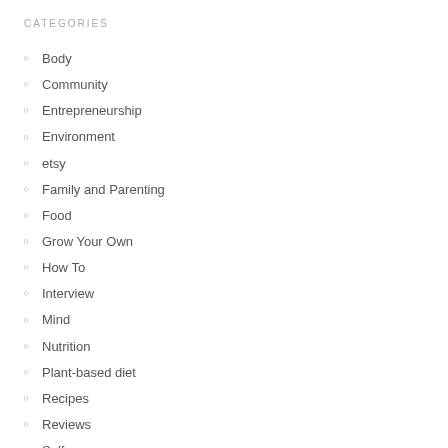CATEGORIES
Body
Community
Entrepreneurship
Environment
etsy
Family and Parenting
Food
Grow Your Own
How To
Interview
Mind
Nutrition
Plant-based diet
Recipes
Reviews
Self